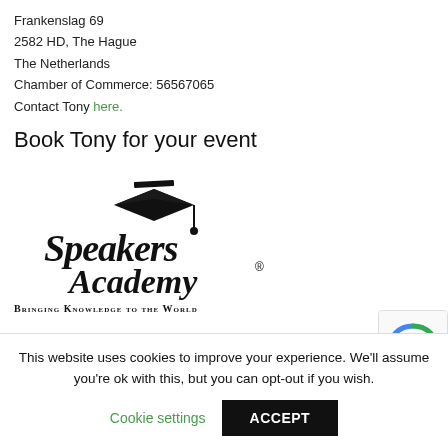Frankenslag 69
2582 HD, The Hague
The Netherlands
Chamber of Commerce: 56567065
Contact Tony here.
Book Tony for your event
[Figure (logo): Speakers Academy logo with graduation cap icon and text 'Speakers Academy' and tagline 'Bringing Knowledge to the World']
This website uses cookies to improve your experience. We'll assume you're ok with this, but you can opt-out if you wish.
Cookie settings   ACCEPT